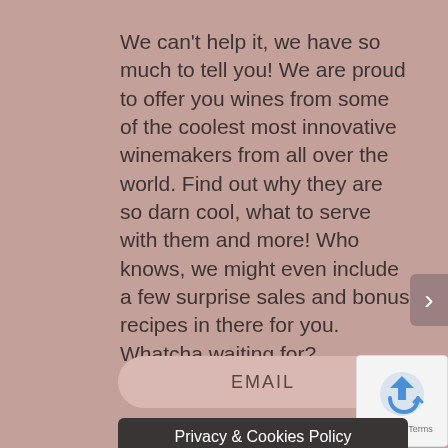We can't help it, we have so much to tell you! We are proud to offer you wines from some of the coolest most innovative winemakers from all over the world. Find out why they are so darn cool, what to serve with them and more! Who knows, we might even include a few surprise sales and bonus recipes in there for you. Whatcha waiting for? Subscribe!
EMAIL
Privacy & Cookies Policy